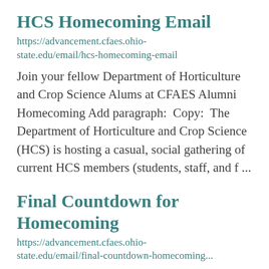HCS Homecoming Email
https://advancement.cfaes.ohio-state.edu/email/hcs-homecoming-email
Join your fellow Department of Horticulture and Crop Science Alums at CFAES Alumni Homecoming Add paragraph:  Copy:  The Department of Horticulture and Crop Science (HCS) is hosting a casual, social gathering of current HCS members (students, staff, and f ...
Final Countdown for Homecoming
https://advancement.cfaes.ohio-state.edu/email/final-countdown-homecoming...